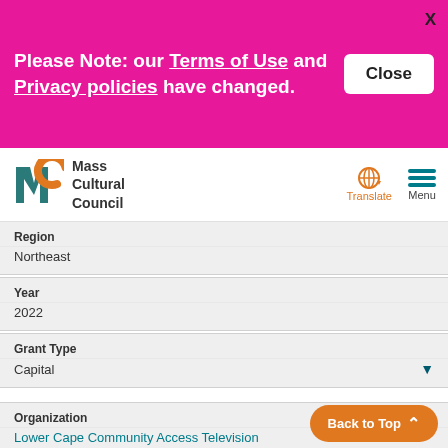Please Note: our Terms of Use and Privacy policies have changed.
[Figure (logo): Mass Cultural Council logo with MC icon in teal and orange]
Region
Northeast
Year
2022
Grant Type
Capital
Organization
Lower Cape Community Access Television
Region
Southeast